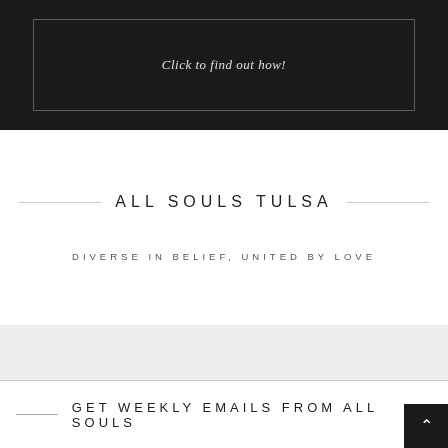[Figure (photo): Dark background image with a framed box containing italic text 'Click to find out how!']
ALL SOULS TULSA
DIVERSE IN BELIEF, UNITED BY LOVE
GET WEEKLY EMAILS FROM ALL SOULS